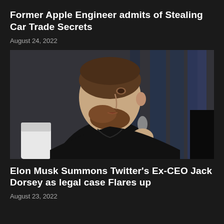Former Apple Engineer admits of Stealing Car Trade Secrets
August 24, 2022
[Figure (photo): A man with a shaved head and beard, wearing a black outfit, speaking into a microphone at an event. The background shows blue-lit curtains. This is Jack Dorsey.]
Elon Musk Summons Twitter's Ex-CEO Jack Dorsey as legal case Flares up
August 23, 2022